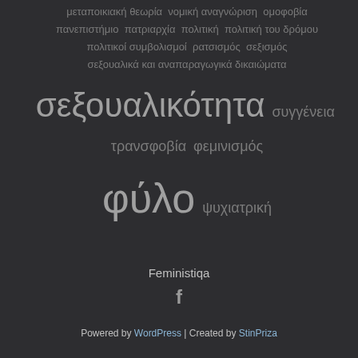[Figure (infographic): Tag cloud in Greek and English with various feminist and social theory terms in different sizes on a dark background]
Feministiqa
[Figure (logo): Facebook icon (letter f in white)]
Powered by WordPress | Created by StinPriza